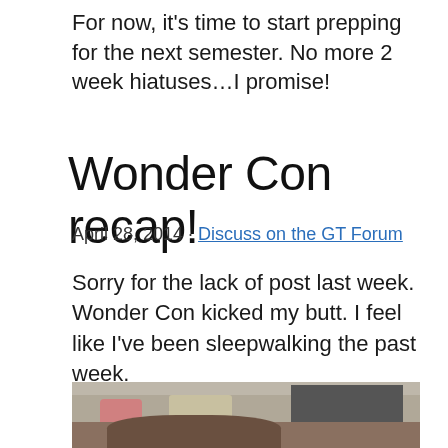For now, it’s time to start prepping for the next semester. No more 2 week hiatuses…I promise!
Wonder Con recap!
April 28, 2014 · Discuss on the GT Forum
Sorry for the lack of post last week. Wonder Con kicked my butt. I feel like I’ve been sleepwalking the past week.
[Figure (photo): Photo of a cat sitting at a desk with a jar, soap bottle, and monitor in the background]